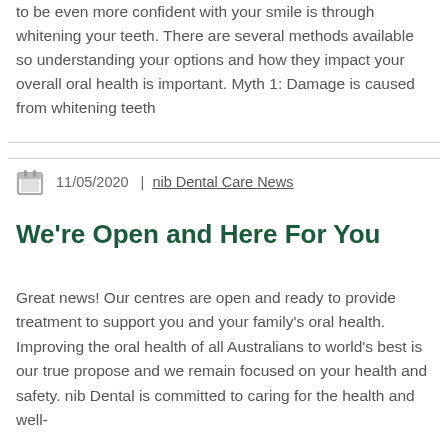to be even more confident with your smile is through whitening your teeth. There are several methods available so understanding your options and how they impact your overall oral health is important. Myth 1: Damage is caused from whitening teeth
11/05/2020  |  nib Dental Care News
We're Open and Here For You
Great news! Our centres are open and ready to provide treatment to support you and your family's oral health. Improving the oral health of all Australians to world's best is our true propose and we remain focused on your health and safety. nib Dental is committed to caring for the health and well-being of...